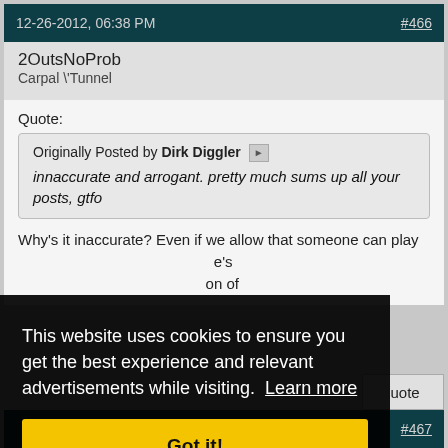12-26-2012, 06:38 PM   #466
2OutsNoProb
Carpal \Tunnel
Quote:
Originally Posted by Dirk Diggler
innaccurate and arrogant. pretty much sums up all your posts, gtfo
Why's it inaccurate? Even if we allow that someone can play ... e's ... on of
This website uses cookies to ensure you get the best experience and relevant advertisements while visiting. Learn more
Got it!
#467